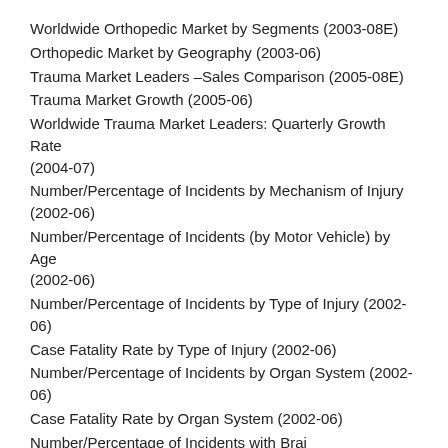Worldwide Orthopedic Market by Segments (2003-08E)
Orthopedic Market by Geography (2003-06)
Trauma Market Leaders –Sales Comparison (2005-08E)
Trauma Market Growth (2005-06)
Worldwide Trauma Market Leaders: Quarterly Growth Rate (2004-07)
Number/Percentage of Incidents by Mechanism of Injury (2002-06)
Number/Percentage of Incidents (by Motor Vehicle) by Age (2002-06)
Number/Percentage of Incidents by Type of Injury (2002-06)
Case Fatality Rate by Type of Injury (2002-06)
Number/Percentage of Incidents by Organ System (2002-06)
Case Fatality Rate by Organ System (2002-06)
Number/Percentage of Incidents with Brain ... (2002-06)